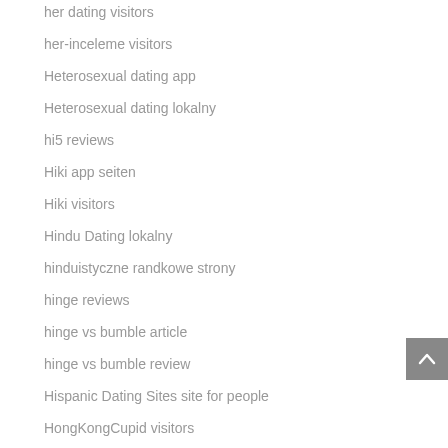her dating visitors
her-inceleme visitors
Heterosexual dating app
Heterosexual dating lokalny
hi5 reviews
Hiki app seiten
Hiki visitors
Hindu Dating lokalny
hinduistyczne randkowe strony
hinge reviews
hinge vs bumble article
hinge vs bumble review
Hispanic Dating Sites site for people
HongKongCupid visitors
Hornet gratis app